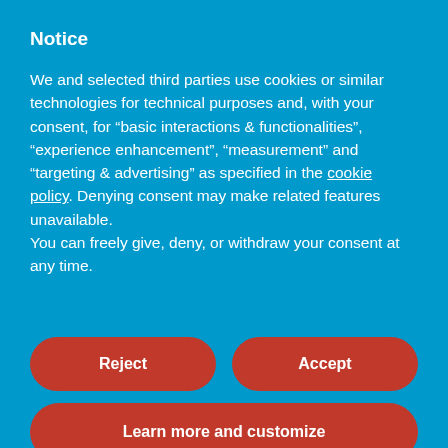Notice
We and selected third parties use cookies or similar technologies for technical purposes and, with your consent, for “basic interactions & functionalities”, “experience enhancement”, “measurement” and “targeting & advertising” as specified in the cookie policy. Denying consent may make related features unavailable.
You can freely give, deny, or withdraw your consent at any time.
Reject
Accept
Learn more and customize
new each... read more
See All Reviews
© Happy Languages Ltd 2022 |   Terms and